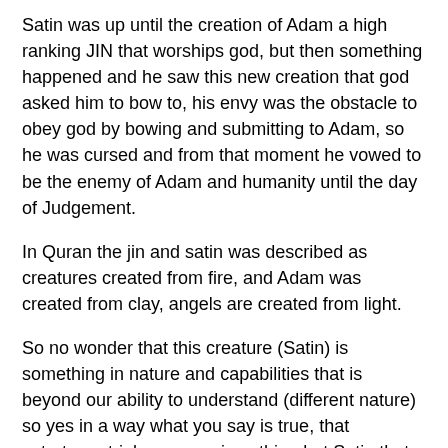Satin was up until the creation of Adam a high ranking JIN that worships god, but then something happened and he saw this new creation that god asked him to bow to, his envy was the obstacle to obey god by bowing and submitting to Adam, so he was cursed and from that moment he vowed to be the enemy of Adam and humanity until the day of Judgement.
In Quran the jin and satin was described as creatures created from fire, and Adam was created from clay, angels are created from light.
So no wonder that this creature (Satin) is something in nature and capabilities that is beyond our ability to understand (different nature) so yes in a way what you say is true, that extraterrestrial presence is nothing but Satin that is trying to come to our dimension to dominate what god gave to Adam and his offspring the humanity, of course you will find those cabals who sold their souls to satin are helping him to achieve that goal, and they are willing like